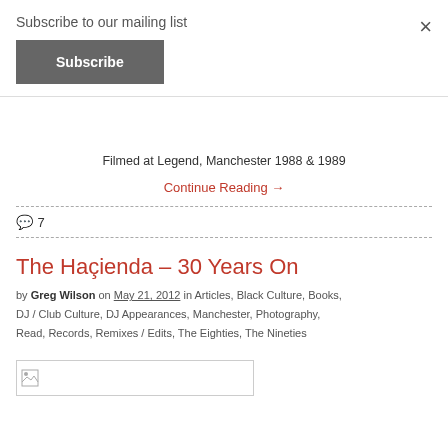Subscribe to our mailing list
Subscribe
Filmed at Legend, Manchester 1988 & 1989
Continue Reading →
7
The Haçienda – 30 Years On
by Greg Wilson on May 21, 2012 in Articles, Black Culture, Books, DJ / Club Culture, DJ Appearances, Manchester, Photography, Read, Records, Remixes / Edits, The Eighties, The Nineties
[Figure (other): Thumbnail image placeholder for article]